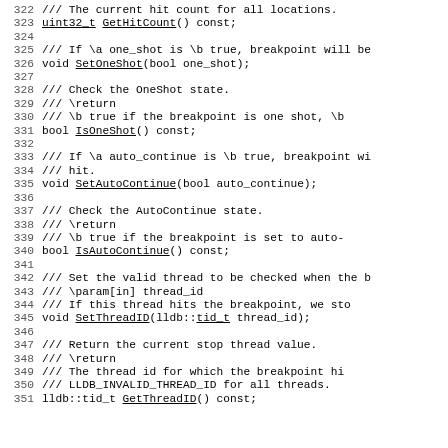322   ///     The current hit count for all locations.
323   uint32_t GetHitCount() const;
324
325   /// If \a one_shot is \b true, breakpoint will be
326   void SetOneShot(bool one_shot);
327
328   /// Check the OneShot state.
329   /// \return
330   ///     \b true if the breakpoint is one shot, \b
331   bool IsOneShot() const;
332
333   /// If \a auto_continue is \b true, breakpoint wi
334   /// hit.
335   void SetAutoContinue(bool auto_continue);
336
337   /// Check the AutoContinue state.
338   /// \return
339   ///     \b true if the breakpoint is set to auto-
340   bool IsAutoContinue() const;
341
342   /// Set the valid thread to be checked when the b
343   /// \param[in] thread_id
344   ///     If this thread hits the breakpoint, we sto
345   void SetThreadID(lldb::tid_t thread_id);
346
347   /// Return the current stop thread value.
348   /// \return
349   ///     The thread id for which the breakpoint hi
350   ///     LLDB_INVALID_THREAD_ID for all threads.
351   lldb::tid_t GetThreadID() const;